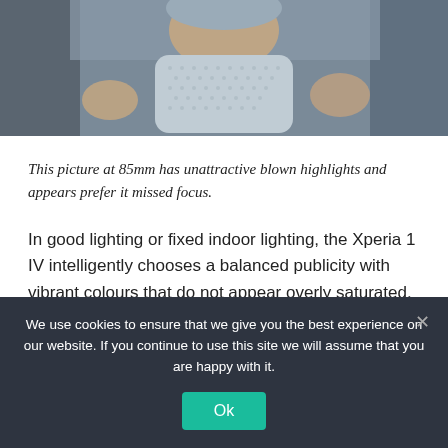[Figure (photo): Close-up photo of a baby wearing a grey/light blue textured bib, being held by adults]
This picture at 85mm has unattractive blown highlights and appears prefer it missed focus.
In good lighting or fixed indoor lighting, the Xperia 1 IV intelligently chooses a balanced publicity with vibrant colours that do not appear overly saturated.
We use cookies to ensure that we give you the best experience on our website. If you continue to use this site we will assume that you are happy with it.